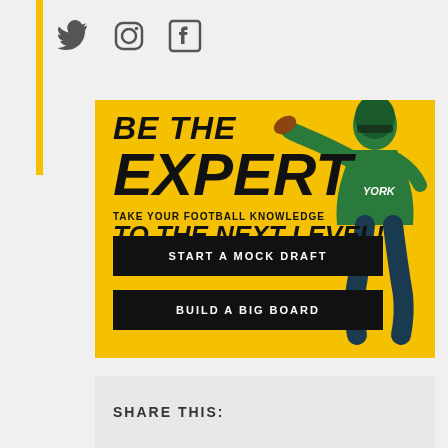[Figure (logo): Twitter bird icon]
[Figure (logo): Instagram camera icon]
[Figure (logo): Facebook F icon]
[Figure (infographic): Yellow promotional banner with NFL quarterback player image. Text reads 'BE THE EXPERT - TAKE YOUR FOOTBALL KNOWLEDGE TO THE NEXT LEVEL!' with two black CTA buttons: 'START A MOCK DRAFT' and 'BUILD A BIG BOARD']
SHARE THIS: